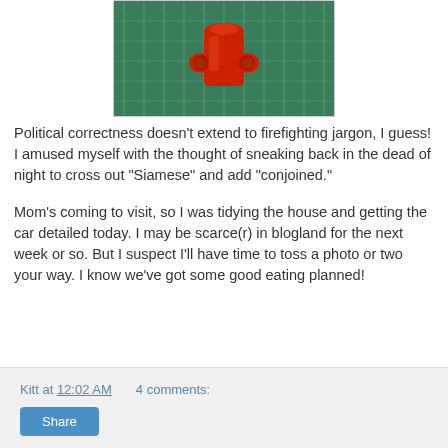[Figure (photo): A red Siamese fire hydrant connection mounted on a chain-link fence with green foliage in the background.]
Political correctness doesn't extend to firefighting jargon, I guess! I amused myself with the thought of sneaking back in the dead of night to cross out "Siamese" and add "conjoined."
Mom's coming to visit, so I was tidying the house and getting the car detailed today. I may be scarce(r) in blogland for the next week or so. But I suspect I'll have time to toss a photo or two your way. I know we've got some good eating planned!
Kitt at 12:02 AM    4 comments: